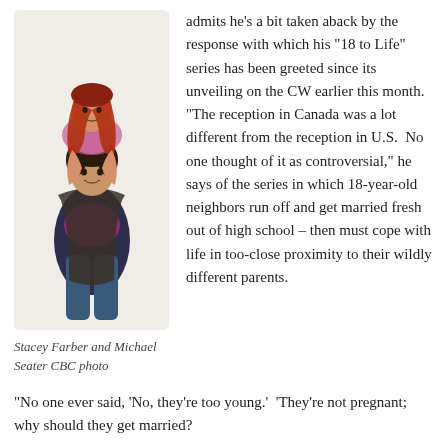[Figure (photo): Stacey Farber and Michael Seater posing together, she is on his back, both smiling. CBC promotional photo.]
Stacey Farber and Michael Seater CBC photo
Canadian actor Michael Seater admits he's a bit taken aback by the response with which his ‘18 to Life” series has been greeted since its unveiling on the CW earlier this month. “The reception in Canada was a lot different from the reception in U.S. No one thought of it as controversial,” he says of the series in which 18-year-old neighbors run off and get married fresh out of high school – then must cope with life in too-close proximity to their wildly different parents.
“No one ever said, ‘No, they’re too young.’ ‘They’re not pregnant; why should they get married?’[…] he also notes there are concerns about all the